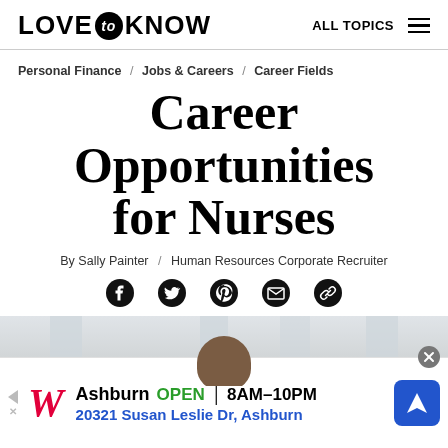LOVE to KNOW  ALL TOPICS
Personal Finance / Jobs & Careers / Career Fields
Career Opportunities for Nurses
By Sally Painter / Human Resources Corporate Recruiter
[Figure (infographic): Social sharing icons: Facebook, Twitter, Pinterest, Email, Link]
[Figure (photo): Partial photo of a person, likely a nurse, visible from head up, with blurred background columns]
[Figure (infographic): Advertisement banner for Walgreens: Ashburn OPEN 8AM-10PM, 20321 Susan Leslie Dr, Ashburn, with navigation arrow icon]